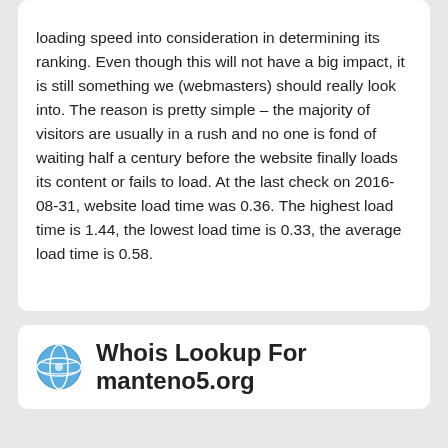loading speed into consideration in determining its ranking. Even though this will not have a big impact, it is still something we (webmasters) should really look into. The reason is pretty simple – the majority of visitors are usually in a rush and no one is fond of waiting half a century before the website finally loads its content or fails to load. At the last check on 2016-08-31, website load time was 0.36. The highest load time is 1.44, the lowest load time is 0.33, the average load time is 0.58.
Whois Lookup For manteno5.org